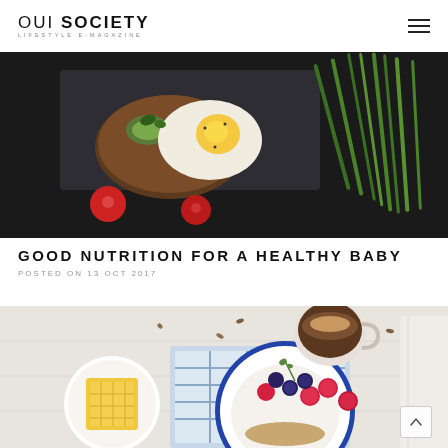OUI SOCIETY — LIFESTYLE E-MAGAZINE
[Figure (photo): Overhead dark food photo showing a fried egg on toast on a slate board, cherry tomatoes, chives on a black background]
GOOD NUTRITION FOR A HEALTHY BABY
POSTED ON 13 OCT 2017
[Figure (photo): Overhead white table food photo showing a bowl of yogurt with berries (raspberries, blueberries), honeycomb on a plate, and a cup of latte coffee]